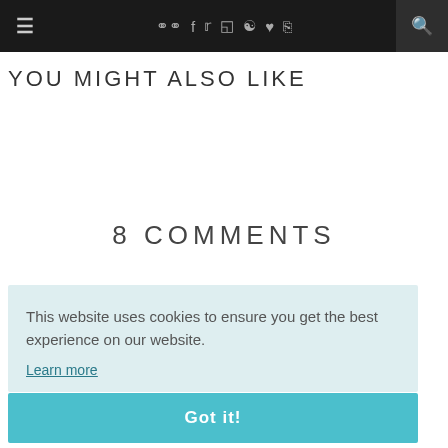≡  ◯◷ f t ⊡ ℗ ♥ ⌂  🔍
YOU MIGHT ALSO LIKE
8 COMMENTS
This website uses cookies to ensure you get the best experience on our website.
Learn more
Got it!